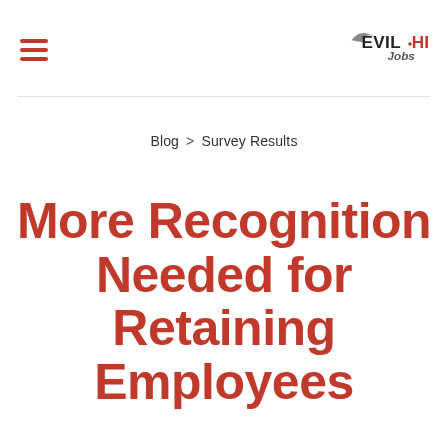Evil HR Jobs (logo) | hamburger menu
Blog > Survey Results
More Recognition Needed for Retaining Employees